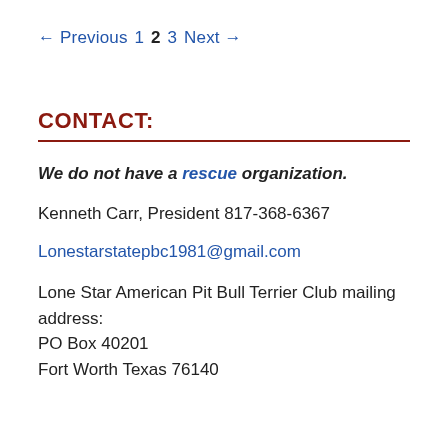← Previous  1  2  3  Next →
CONTACT:
We do not have a rescue organization.
Kenneth Carr, President 817-368-6367
Lonestarstatepbc1981@gmail.com
Lone Star American Pit Bull Terrier Club mailing address:
PO Box 40201
Fort Worth Texas 76140